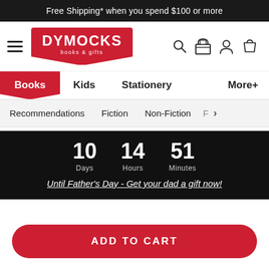Free Shipping* when you spend $100 or more
[Figure (logo): Dymocks Books & Gifts logo with navigation icons (hamburger menu, search, store, account, cart)]
Books | Kids | Stationery | More+
Recommendations | Fiction | Non-Fiction | F >
10 Days  14 Hours  51 Minutes – Until Father's Day - Get your dad a gift now!
ADD TO CART